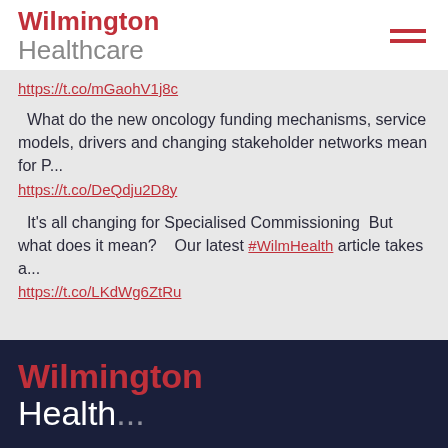[Figure (logo): Wilmington Healthcare logo with hamburger menu icon]
https://t.co/mGaohV1j8c
What do the new oncology funding mechanisms, service models, drivers and changing stakeholder networks mean for P...
https://t.co/DeQdju2D8y
It's all changing for Specialised Commissioning  But what does it mean?   Our latest #WilmHealth article takes a...
https://t.co/LKdWg6ZtRu
[Figure (logo): Wilmington Healthcare logo on dark navy background]